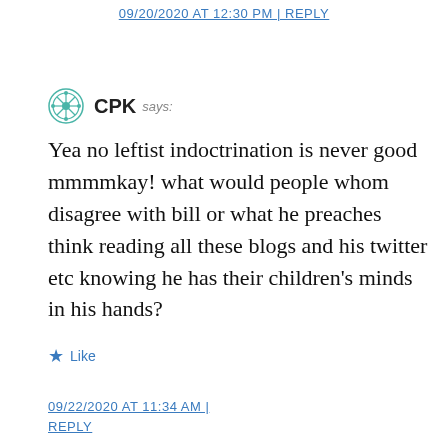09/20/2020 AT 12:30 PM | REPLY
CPK says:
Yea no leftist indoctrination is never good mmmmkay! what would people whom disagree with bill or what he preaches think reading all these blogs and his twitter etc knowing he has their children’s minds in his hands?
★ Like
09/22/2020 AT 11:34 AM | REPLY